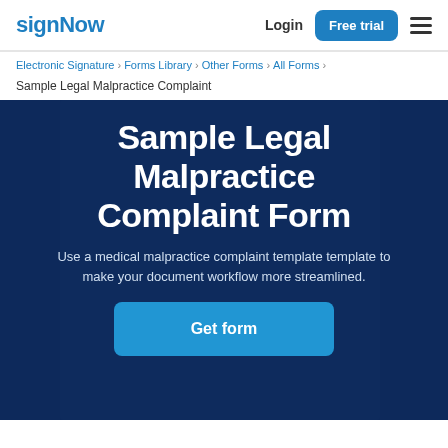signNow   Login   Free trial
Electronic Signature › Forms Library › Other Forms › All Forms ›
Sample Legal Malpractice Complaint
Sample Legal Malpractice Complaint Form
Use a medical malpractice complaint template template to make your document workflow more streamlined.
Get form